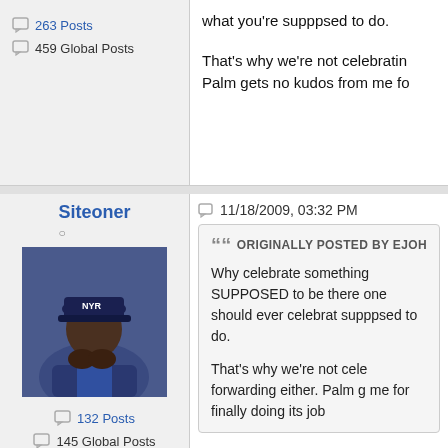what you're supppsed to do.

That's why we're not celebrating Palm gets no kudos from me fo
263 Posts
459 Global Posts
Siteoner
11/18/2009, 03:32 PM
[Figure (photo): Avatar photo of user Siteoner wearing a NY Rangers cap and blue jersey, hands clasped]
132 Posts
145 Global Posts
Originally Posted by ejoh

Why celebrate something SUPPOSED to be there one should ever celebrate supppsed to do.

That's why we're not cele forwarding either. Palm g me for finally doing its job